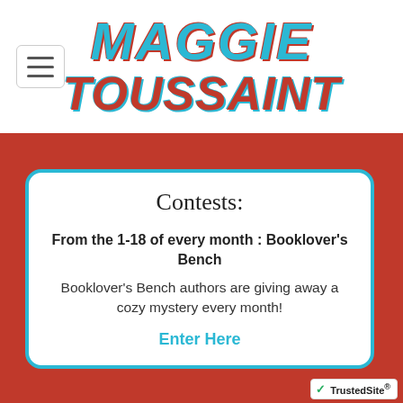MAGGIE TOUSSAINT
Contests:
From the 1-18 of every month : Booklover's Bench
Booklover's Bench authors are giving away a cozy mystery every month!
Enter Here
[Figure (logo): TrustedSite badge with green checkmark]